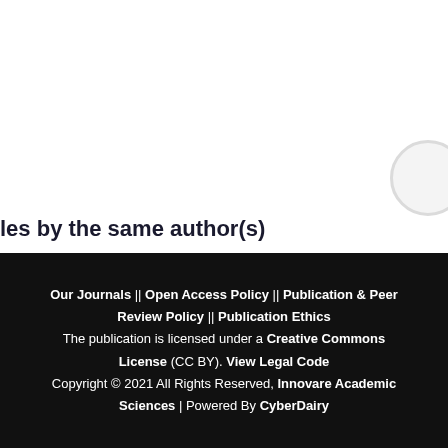les by the same author(s)
Versha Parcha, Deepak Kumar, QUANTITATIVE ESTIMATION OF BER... Asian Journal of Pharmaceutical and Clinical Research: Vol 7 Suppl 1 (Feb...
Our Journals || Open Access Policy || Publication & Peer Review Policy || Publication Ethics The publication is licensed under a Creative Commons License (CC BY). View Legal Code Copyright © 2021 All Rights Reserved, Innovare Academic Sciences | Powered By CyberDairy